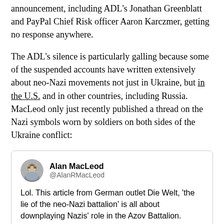announcement, including ADL's Jonathan Greenblatt and PayPal Chief Risk officer Aaron Karczmer, getting no response anywhere.
The ADL's silence is particularly galling because some of the suspended accounts have written extensively about neo-Nazi movements not just in Ukraine, but in the U.S. and in other countries, including Russia. MacLeod only just recently published a thread on the Nazi symbols worn by soldiers on both sides of the Ukraine conflict:
[Figure (screenshot): Tweet by Alan MacLeod (@AlanRMacLeod): Lol. This article from German outlet Die Welt, 'the lie of the neo-Nazi battalion' is all about downplaying Nazis' role in the Azov Battalion.]